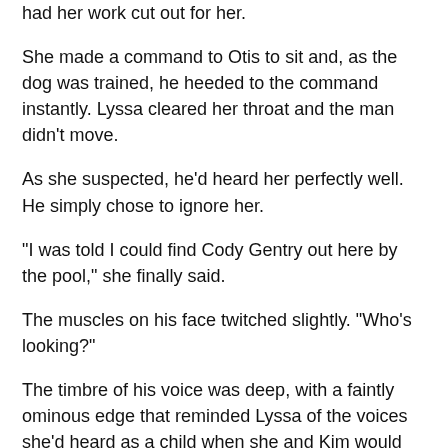had her work cut out for her.
She made a command to Otis to sit and, as the dog was trained, he heeded to the command instantly. Lyssa cleared her throat and the man didn't move.
As she suspected, he'd heard her perfectly well. He simply chose to ignore her.
"I was told I could find Cody Gentry out here by the pool," she finally said.
The muscles on his face twitched slightly. "Who's looking?"
The timbre of his voice was deep, with a faintly ominous edge that reminded Lyssa of the voices she'd heard as a child when she and Kim would sneak downstairs in the middle of the night and watch old horror flicks on cable. She couldn't see the movies, she'd only heard the voices, and that added to the mystery, raised the level of anticipation, sending shivers racing up her spine.